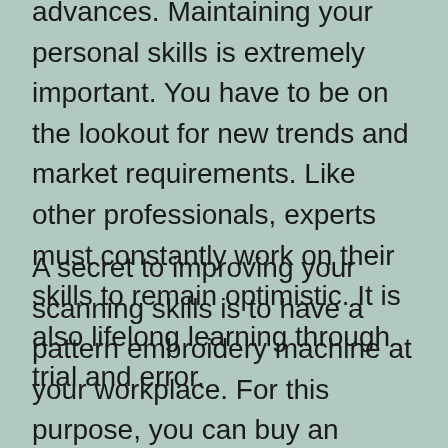advances. Maintaining your personal skills is extremely important. You have to be on the lookout for new trends and market requirements. Like other professionals, experts must constantly work on their skills to remain optimistic. It is also lifelong learning through trial and error.
A secret to improving your scanning skills is to have a pattern embroidery machine at your workplace. For this purpose, you can buy an embroidery machine at home. These machines are smaller and take up less space, which makes them a practical option. These can